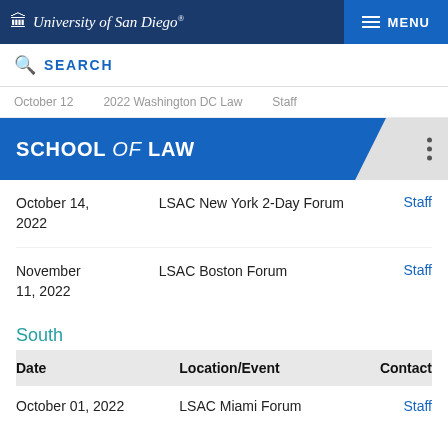University of San Diego — MENU
SEARCH
October 12   2022 Washington DC Law   Staff
SCHOOL of LAW
| Date | Location/Event | Contact |
| --- | --- | --- |
| October 14, 2022 | LSAC New York 2-Day Forum | Staff |
| November 11, 2022 | LSAC Boston Forum | Staff |
South
| Date | Location/Event | Contact |
| --- | --- | --- |
| October 01, 2022 | LSAC Miami Forum | Staff |